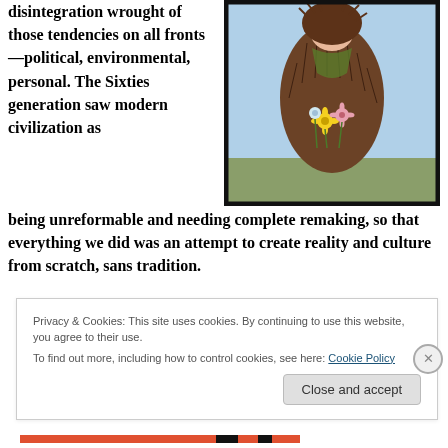disintegration wrought of those tendencies on all fronts—political, environmental, personal. The Sixties generation saw modern civilization as being unreformable and needing complete remaking, so that everything we did was an attempt to create reality and culture from scratch, sans tradition.
[Figure (illustration): A painting of a figure holding flowers, depicted in an impressionistic/abstract style with brown and green tones against a blue background]
Privacy & Cookies: This site uses cookies. By continuing to use this website, you agree to their use. To find out more, including how to control cookies, see here: Cookie Policy